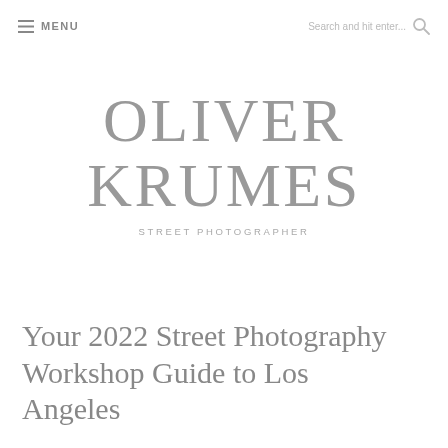≡ MENU   Search and hit enter... 🔍
OLIVER KRUMES
STREET PHOTOGRAPHER
Your 2022 Street Photography Workshop Guide to Los Angeles